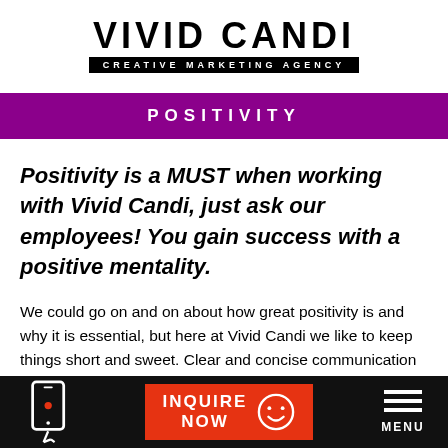[Figure (logo): Vivid Candi Creative Marketing Agency logo — large bold black text 'VIVID CANDI' above a black bar reading 'CREATIVE MARKETING AGENCY' in white spaced caps]
POSITIVITY
Positivity is a MUST when working with Vivid Candi, just ask our employees! You gain success with a positive mentality.
We could go on and on about how great positivity is and why it is essential, but here at Vivid Candi we like to keep things short and sweet. Clear and concise communication makes for the best outcomes. So, we'll leave it the bullet
INQUIRE NOW | MENU